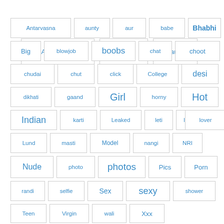[Figure (infographic): Tag cloud with bordered rectangular tags in blue text on white background. Tags include: Antarvasna, aunty, aur, babe, Bhabhi, Big, blowjob, boobs, chat, choot, chudai, chut, click, College, desi, dikhati, gaand, Girl, horny, Hot, Indian, karti, Leaked, leti, liye, lover, Lund, masti, Model, nangi, NRI, Nude, photo, photos, Pics, Porn, randi, selfie, Sex, sexy, shower, Teen, Virgin, wali, Xxx]